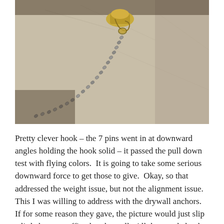[Figure (photo): Close-up photograph of a hook mounted on a wall with a chain hanging from it, showing pins inserted at downward angles into drywall.]
Pretty clever hook – the 7 pins went in at downward angles holding the hook solid – it passed the pull down test with flying colors.  It is going to take some serious downward force to get those to give.  Okay, so that addressed the weight issue, but not the alignment issue.  This I was willing to address with the drywall anchors.  If for some reason they gave, the picture would just slip a little but stay affixed to the wall.  All that needed to be done was to put the